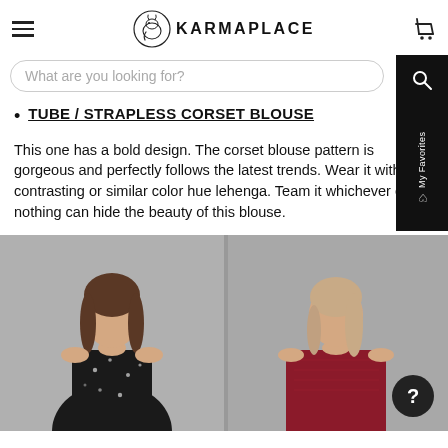KARMAPLACE (logo with hamburger menu and cart icon)
What are you looking for?
TUBE / STRAPLESS CORSET BLOUSE
This one has a bold design. The corset blouse pattern is gorgeous and perfectly follows the latest trends. Wear it with a contrasting or similar color hue lehenga. Team it whichever color, nothing can hide the beauty of this blouse.
[Figure (photo): Two models wearing tube/strapless corset blouses — left model in black embellished blouse, right model in red/maroon corset blouse on grey background.]